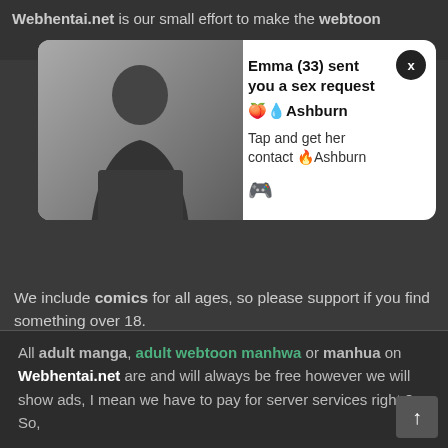Webhentai.net is our small effort to make the webtoon m... f... m... n...
[Figure (infographic): Pop-up advertisement showing: image of a woman on left, text 'Emma (33) sent you a sex request 🍑💧Ashburn', 'Tap and get her contact 🔥Ashburn', emoji 🎮, close button X in top right]
We include comics for all ages, so please support if you find something over 18.
All adult manga, adult webtoon manhwa or manhua on Webhentai.net are and will always be free however we will show ads, I mean we have to pay for server services right ? So,
Help us by sharing this site with your friends! We made the site in such a way that it is easy to use.
Webhentai aspires to serve global readers with engaging and agile content in capturing the latest trends of adult manga, adult manhwa webtoon, hentai manga, and sex webcomics.